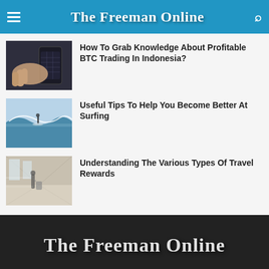The Freeman Online
[Figure (photo): Hand holding a smartphone with a dark interface, possibly a trading app]
How To Grab Knowledge About Profitable BTC Trading In Indonesia?
[Figure (photo): Person surfing a wave on a surfboard]
Useful Tips To Help You Become Better At Surfing
[Figure (photo): Person walking with luggage in a transit area, motion blur]
Understanding The Various Types Of Travel Rewards
The Freeman Online